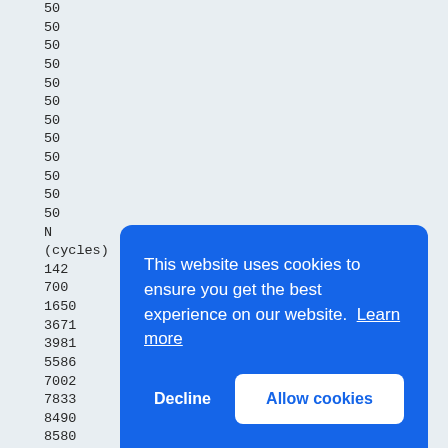50
50
50
50
50
50
50
50
50
50
50
50
N
(cycles)
142
700
1650
3671
3981
5586
7002
7833
8490
8580
9274
1090
1144
1196
1365
1409
1472
16008
This website uses cookies to ensure you get the best experience on our website. Learn more
Decline   Allow cookies